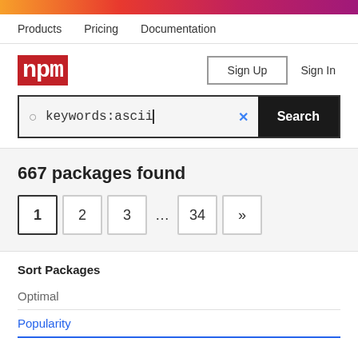Products  Pricing  Documentation
[Figure (logo): npm logo — white text on red background]
Sign Up   Sign In
keywords:ascii  x  Search
667 packages found
1  2  3  ...  34  »
Sort Packages
Optimal
Popularity